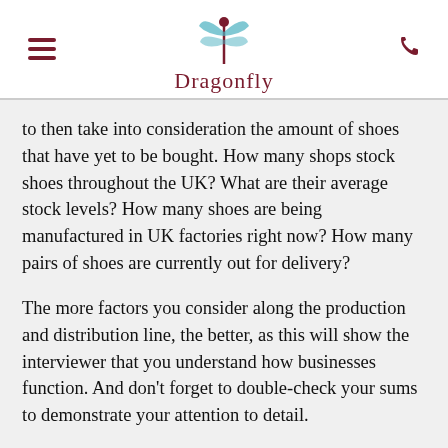Dragonfly
to then take into consideration the amount of shoes that have yet to be bought. How many shops stock shoes throughout the UK? What are their average stock levels? How many shoes are being manufactured in UK factories right now? How many pairs of shoes are currently out for delivery?
The more factors you consider along the production and distribution line, the better, as this will show the interviewer that you understand how businesses function. And don't forget to double-check your sums to demonstrate your attention to detail.
2. What would you rate your skillset out of 10?